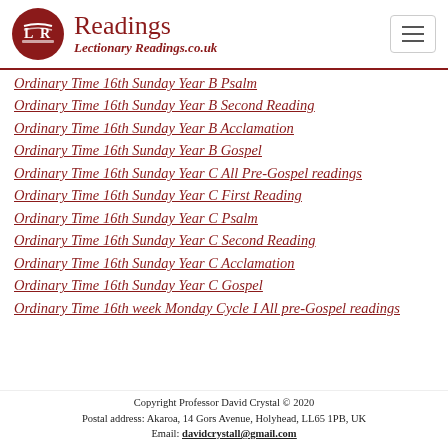Readings — LectionaryReadings.co.uk
Ordinary Time 16th Sunday Year B Psalm
Ordinary Time 16th Sunday Year B Second Reading
Ordinary Time 16th Sunday Year B Acclamation
Ordinary Time 16th Sunday Year B Gospel
Ordinary Time 16th Sunday Year C All Pre-Gospel readings
Ordinary Time 16th Sunday Year C First Reading
Ordinary Time 16th Sunday Year C Psalm
Ordinary Time 16th Sunday Year C Second Reading
Ordinary Time 16th Sunday Year C Acclamation
Ordinary Time 16th Sunday Year C Gospel
Ordinary Time 16th week Monday Cycle I All pre-Gospel readings
Copyright Professor David Crystal © 2020
Postal address: Akaroa, 14 Gors Avenue, Holyhead, LL65 1PB, UK
Email: davidcrystall@gmail.com